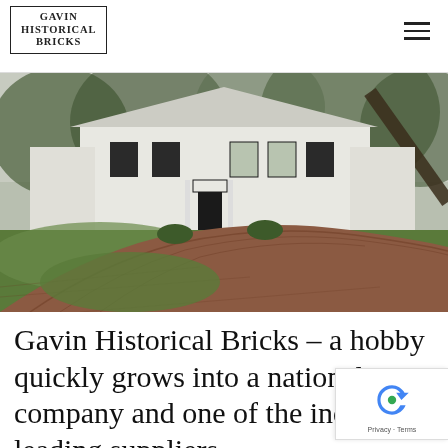Gavin Historical Bricks
[Figure (photo): A large white colonial-style house with black shutters and a curved red brick driveway surrounded by green lawn and trees.]
Gavin Historical Bricks – a hobby quickly grows into a national company and one of the industry's leading suppliers